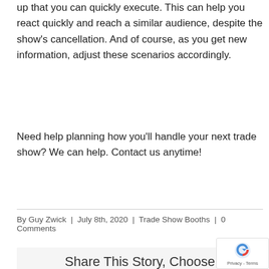up that you can quickly execute. This can help you react quickly and reach a similar audience, despite the show's cancellation. And of course, as you get new information, adjust these scenarios accordingly.
Need help planning how you'll handle your next trade show? We can help. Contact us anytime!
By Guy Zwick | July 8th, 2020 | Trade Show Booths | 0 Comments
Share This Story, Choose Your Platform!
[Figure (infographic): Social media sharing icons: Facebook, Twitter, Reddit, LinkedIn, WhatsApp, Tumblr, Pinterest, VK, Email]